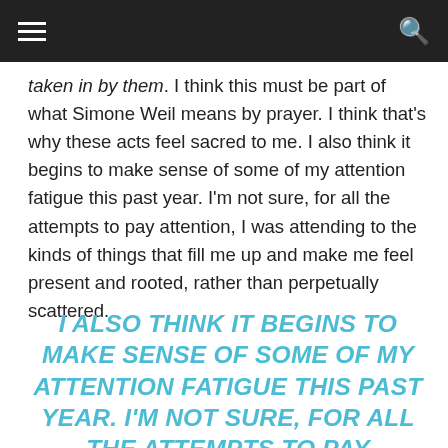[navigation bar with hamburger menu and search icon]
taken in by them. I think this must be part of what Simone Weil means by prayer. I think that’s why these acts feel sacred to me. I also think it begins to make sense of some of my attention fatigue this past year. I’m not sure, for all the attempts to pay attention, I was attending to the kinds of things that fill me up and make me feel present and rooted, rather than perpetually scattered.
I ALSO THINK IT BEGINS TO MAKE SENSE OF SOME OF MY ATTENTION FATIGUE THIS PAST YEAR. I’M NOT SURE, FOR ALL THE ATTEMPTS TO PAY ATTENTION, I WAS ATTENDING TO THE KINDS OF THINGS THAT FILL ME UP